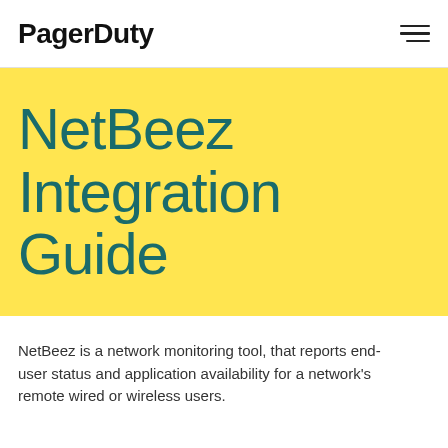PagerDuty
NetBeez Integration Guide
NetBeez is a network monitoring tool, that reports end-user status and application availability for a network's remote wired or wireless users.